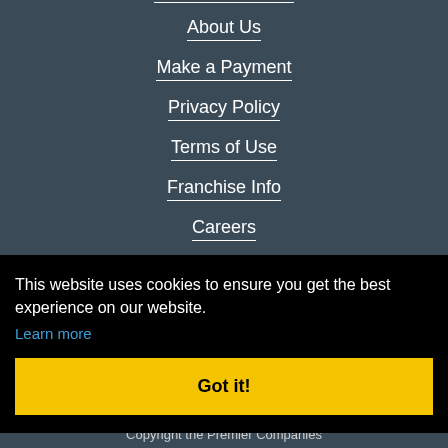About Us
Make a Payment
Privacy Policy
Terms of Use
Franchise Info
Careers
CONTACT
This website uses cookies to ensure you get the best experience on our website.
Learn more
Got it!
Copyright the Premier Companies